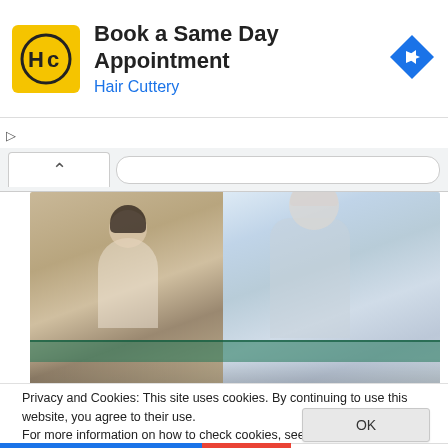[Figure (infographic): Hair Cuttery advertisement banner with yellow logo showing HC initials, title 'Book a Same Day Appointment', subtitle 'Hair Cuttery' in blue, and a blue diamond navigation icon on the right]
▷
✕
[Figure (screenshot): Browser interface with tab showing a caret/up arrow and URL bar]
[Figure (photo): Photo of a female receptionist at a desk smiling at an elderly man with white hair, set in a medical or business reception area with other people visible in the background]
Privacy and Cookies: This site uses cookies. By continuing to use this website, you agree to their use.
For more information on how to check cookies, see here: Cookie Policy
OK